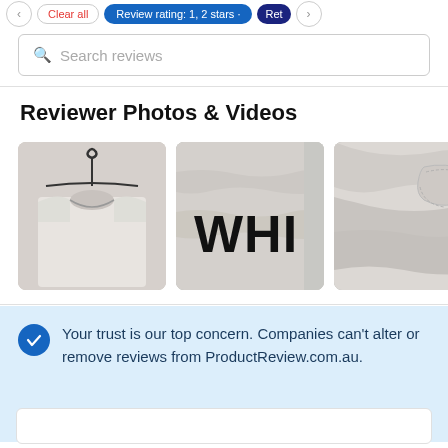< Clear all | Review rating: 1, 2 stars · Ret >
Search reviews
Reviewer Photos & Videos
[Figure (photo): Three thumbnail photos of white hoodies/sweatshirts: one on a hanger showing neckline, one showing 'WHI' text logo close-up, one showing fabric/pocket detail]
Your trust is our top concern. Companies can't alter or remove reviews from ProductReview.com.au.